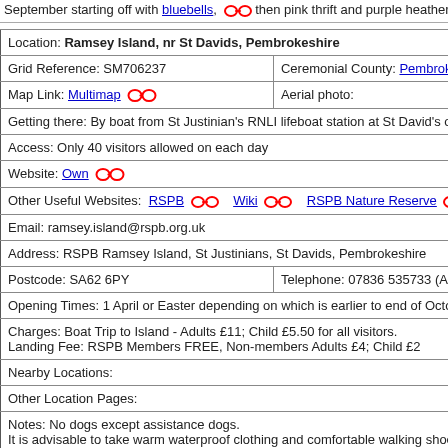September starting off with bluebells, then pink thrift and purple heather on the
| Location: Ramsey Island, nr St Davids, Pembrokeshire |
| Grid Reference: SM706237 | Ceremonial County: Pembrokeshi |
| Map Link: Multimap [icon] | Aerial photo: |
| Getting there: By boat from St Justinian's RNLI lifeboat station at St David's on the |
| Access: Only 40 visitors allowed on each day |
| Website: Own [icon] |
| Other Useful Websites: RSPB [icon] Wiki [icon] RSPB Nature Reserve [icon] |
| Email: ramsey.island@rspb.org.uk |
| Address: RSPB Ramsey Island, St Justinians, St Davids, Pembrokeshire |
| Postcode: SA62 6PY | Telephone: 07836 535733 (April - |
| Opening Times: 1 April or Easter depending on which is earlier to end of October da |
| Charges: Boat Trip to Island - Adults £11; Child £5.50 for all visitors.
Landing Fee: RSPB Members FREE, Non-members Adults £4; Child £2 |
| Nearby Locations: |
| Other Location Pages: |
| Notes: No dogs except assistance dogs.
It is advisable to take warm waterproof clothing and comfortable walking shoes. Ta
refreshments are available at the farmhouse on Ramsey at set times.
There are limited visitor facilities... |